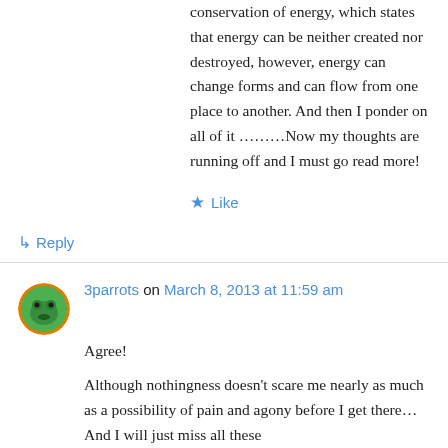conservation of energy, which states that energy can be neither created nor destroyed, however, energy can change forms and can flow from one place to another. And then I ponder on all of it ………Now my thoughts are running off and I must go read more!
★ Like
↳ Reply
3parrots on March 8, 2013 at 11:59 am
Agree!
Although nothingness doesn't scare me nearly as much as a possibility of pain and agony before I get there… And I will just miss all these lovely bloggers, or maybe all these memories ride